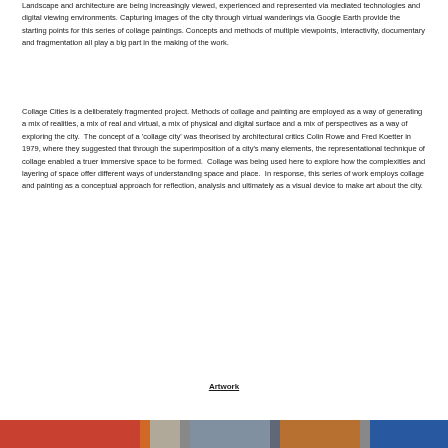Landscape and architecture are being increasingly viewed, experienced and represented via mediated technologies and digital viewing environments. Capturing images of the city through virtual wanderings via Google Earth provide the starting points for this series of collage paintings. Concepts and methods of multiple viewpoints, interactivity, documentary and fragmentation all play a big part in the making of the work.
Collage Cities is a deliberately fragmented project. Methods of collage and painting are employed as a way of generating a mix of realities, a mix of real and virtual, a mix of physical and digital surface and a mix of perspectives as a way of exploring the city.  The concept of a 'collage city' was theorised by architectural critics Colin Rowe and Fred Koetter in 1979, where they suggested that through the superimposition of a city's many elements, the representational technique of collage enabled a truer immersive space to be formed.  Collage was being used here to explore how the complexities and layering of space offer different ways of understanding space and place.  In response, this series of work employs collage and painting as a conceptual approach for reflection, analysis and ultimately as a visual device to make art about the city.
Artwork
[Figure (photo): Bottom strip showing partial view of colorful collage artwork images]